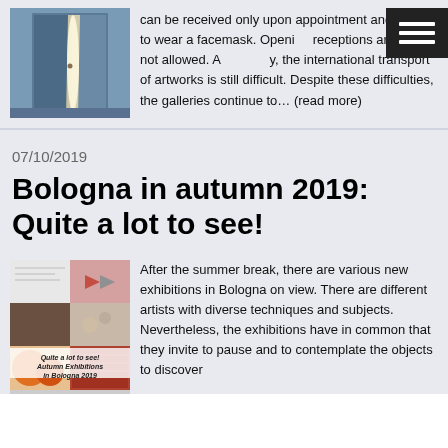[Figure (photo): Photo of a door ajar with light coming through, blue walls]
can be received only upon appointment and have to wear a facemask. Opening receptions are still not allowed. Additionally, the international transport of artworks is still difficult. Despite these difficulties, the galleries continue to… (read more)
07/10/2019
Bologna in autumn 2019: Quite a lot to see!
[Figure (photo): Collage of autumn exhibition images in Bologna 2019 with overlay text: Quite a lot to see! Autumn Exhibitions in Bologna 2019]
After the summer break, there are various new exhibitions in Bologna on view. There are different artists with diverse techniques and subjects. Nevertheless, the exhibitions have in common that they invite to pause and to contemplate the objects to discover